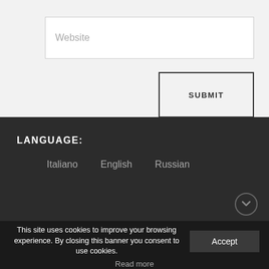Website
SUBMIT
LANGUAGE:
Italiano
English
Russian
This site uses cookies to improve your browsing experience. By closing this banner you consent to use cookies.
Accept
Read more